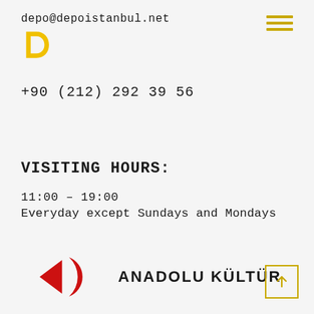depo@depoistanbul.net
[Figure (logo): Yellow D-shaped logo for Depo Istanbul]
[Figure (other): Hamburger menu icon with three yellow horizontal lines]
+90 (212) 292 39 56
VISITING HOURS:
11:00 – 19:00
Everyday except Sundays and Mondays
[Figure (logo): Anadolu Kültür logo with red arrow/bracket symbol and bold text ANADOLU KÜLTÜR]
[Figure (other): Back to top button: yellow bordered square with upward arrow]